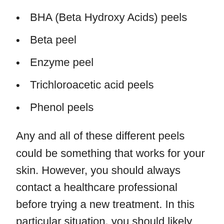BHA (Beta Hydroxy Acids) peels
Beta peel
Enzyme peel
Trichloroacetic acid peels
Phenol peels
Any and all of these different peels could be something that works for your skin. However, you should always contact a healthcare professional before trying a new treatment. In this particular situation, you should likely contact a dermatologist.